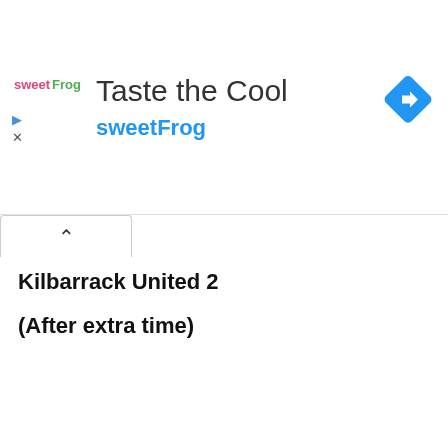[Figure (logo): sweetFrog advertisement banner with logo, 'Taste the Cool' heading, 'sweetFrog' subtitle in blue, and a blue navigation diamond icon]
Kilbarrack United 2
(After extra time)